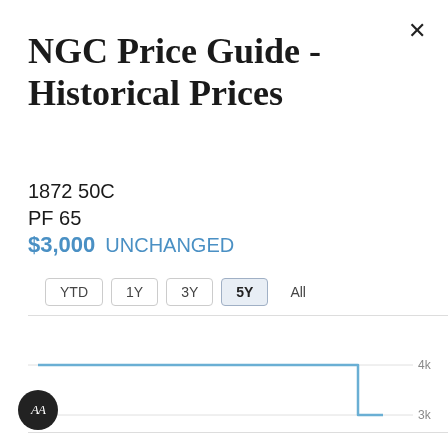NGC Price Guide - Historical Prices
1872 50C
PF 65
$3,000 UNCHANGED
YTD  1Y  3Y  5Y  All
[Figure (line-chart): NGC Price Guide Historical Prices - 5Y]